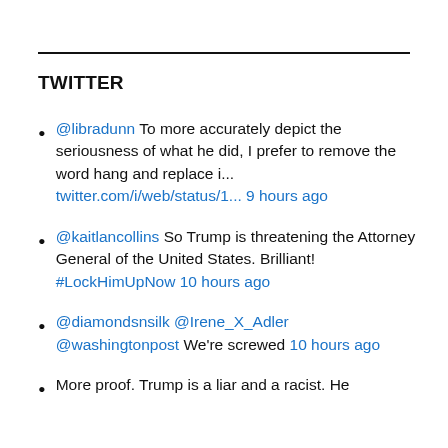TWITTER
@libradunn To more accurately depict the seriousness of what he did, I prefer to remove the word hang and replace i... twitter.com/i/web/status/1... 9 hours ago
@kaitlancollins So Trump is threatening the Attorney General of the United States. Brilliant! #LockHimUpNow 10 hours ago
@diamondsnsilk @Irene_X_Adler @washingtonpost We're screwed 10 hours ago
More proof. Trump is a liar and a racist. He